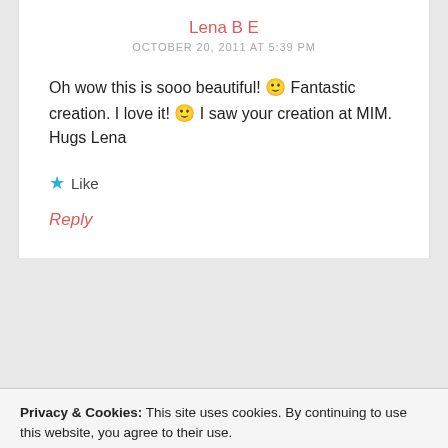Lena B E
OCTOBER 20, 2011 AT 5:39 PM
Oh wow this is sooo beautiful! 🙂 Fantastic creation. I love it! 🙂 I saw your creation at MIM. Hugs Lena
★ Like
Reply
Privacy & Cookies: This site uses cookies. By continuing to use this website, you agree to their use.
To find out more, including how to control cookies, see here: Cookie Policy
Close and accept